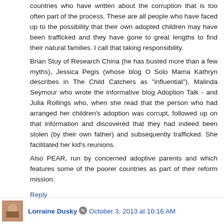countries who have written about the corruption that is too often part of the process. These are all people who have faced up to the possibility that their own adopted children may have been trafficked and they have gone to great lengths to find their natural families. I call that taking responsibility.
Brian Stuy of Research China (he has busted more than a few myths), Jessica Pegis (whose blog O Solo Mama Kathryn describes in The Child Catchers as "influential"), Malinda Seymour who wrote the informative blog Adoption Talk - and Julia Rollings who, when she read that the person who had arranged her children's adoption was corrupt, followed up on that information and discovered that they had indeed been stolen (by their own father) and subsequently trafficked. She facilitated her kid's reunions.
Also PEAR, run by concerned adoptive parents and which features some of the poorer countries as part of their reform mission.
Reply
Lorraine Dusky  October 3, 2013 at 10:16 AM